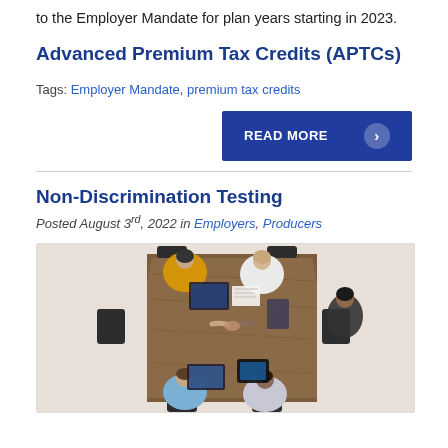to the Employer Mandate for plan years starting in 2023.
Advanced Premium Tax Credits (APTCs)
Tags: Employer Mandate, premium tax credits
READ MORE
Non-Discrimination Testing
Posted August 3rd, 2022 in Employers, Producers
[Figure (photo): Overhead view of people sitting around a wooden conference table with laptops and tablets, shaking hands across the table.]